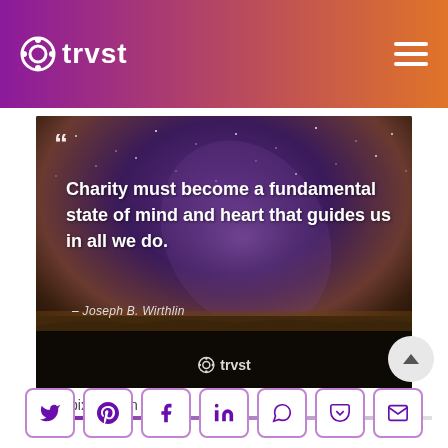trvst
[Figure (photo): Night sky with Milky Way over a dark field and tree silhouettes, with a quote overlay: 'Charity must become a fundamental state of mind and heart that guides us in all we do.' – Joseph B. Wirthlin. TRVST watermark at bottom.]
pixabay on pexels
Share buttons: Twitter, Pinterest, Facebook, LinkedIn, WhatsApp, Pocket, Email